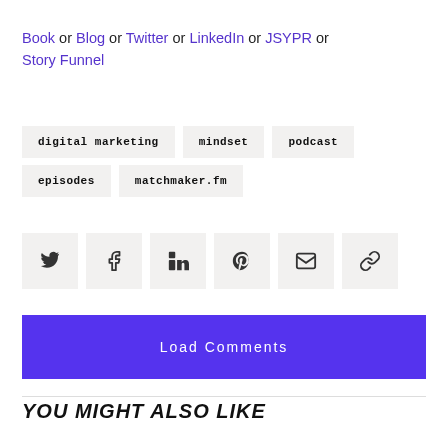Book or Blog or Twitter or LinkedIn or JSYPR or Story Funnel
digital marketing
mindset
podcast
episodes
matchmaker.fm
[Figure (infographic): Row of 6 social share icon buttons: Twitter, Facebook, LinkedIn, Pinterest, Email, Link]
Load Comments
YOU MIGHT ALSO LIKE